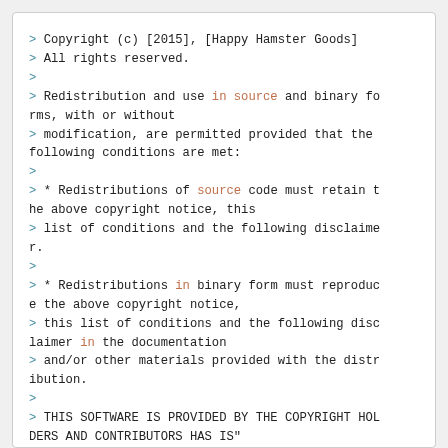> Copyright (c) [2015], [Happy Hamster Goods]
> All rights reserved.
>
> Redistribution and use in source and binary forms, with or without
> modification, are permitted provided that the following conditions are met:
>
> * Redistributions of source code must retain the above copyright notice, this
> list of conditions and the following disclaimer.
>
> * Redistributions in binary form must reproduce the above copyright notice,
> this list of conditions and the following disclaimer in the documentation
> and/or other materials provided with the distribution.
>
> THIS SOFTWARE IS PROVIDED BY THE COPYRIGHT HOLDERS AND CONTRIBUTORS HAS IS"